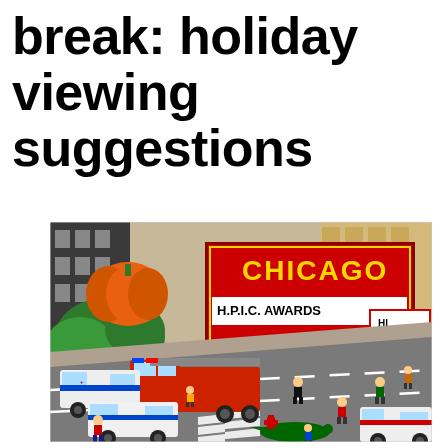break: holiday viewing suggestions
[Figure (photo): A LEGO city street scene featuring a fire truck, police cars, ambulance, and various LEGO minifigures on a road with crosswalk markings. In the background is a LEGO recreation of the Chicago Theatre marquee reading 'CHICAGO H.P.I.C. AWARDS' with a 'HI ELLEN' sign. An orange pumpkin decoration and green bushes are visible near the theater entrance.]